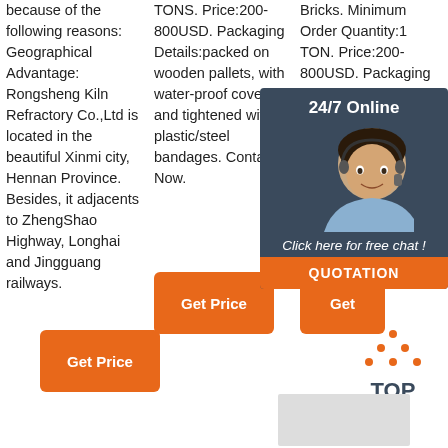because of the following reasons: Geographical Advantage: Rongsheng Kiln Refractory Co.,Ltd is located in the beautiful Xinmi city, Hennan Province. Besides, it adjacents to ZhengShao Highway, Longhai and Jingguang railways.
TONS. Price:200-800USD. Packaging Details:packed on wooden pallets, with water-proof cover, and tightened with plastic/steel bandages. Contact Now.
Bricks. Minimum Order Quantity:1 TON. Price:200-800USD. Packaging Details:packed on wooden pallets, with water-proof cover, tightened with plastic/steel bandages.
[Figure (infographic): 24/7 Online chat overlay panel with a customer service representative photo, text 'Click here for free chat!' and an orange QUOTATION button]
[Figure (other): Orange TOP button with dot triangle icon above text TOP]
[Figure (other): Gray image placeholder at bottom right]
[Figure (other): Get Price orange button (middle column)]
[Figure (other): Get Price orange button (right column, partially visible)]
[Figure (other): Get Price orange button (bottom left)]